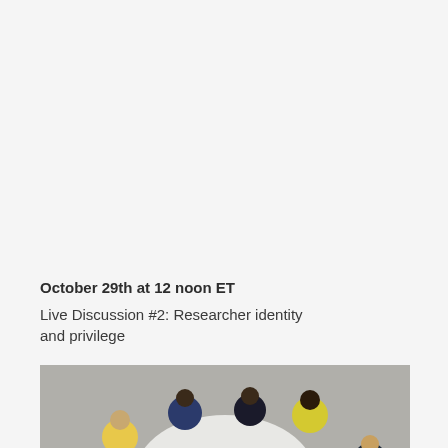October 29th at 12 noon ET
Live Discussion #2: Researcher identity and privilege
[Figure (photo): Overhead aerial view of a group of people sitting around a white round table having a meeting, with a laptop, papers, and colorful icons/diagrams on the table surface.]